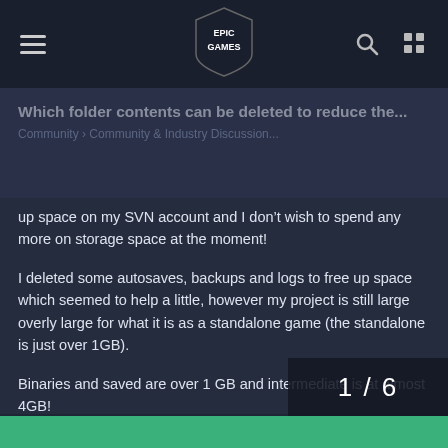Epic Games forum header with hamburger menu, Epic Games logo, search and grid icons
Which folder contents can be deleted to reduce the... Community » Community & Industry Discussion...
up space on my SVN account and I don't wish to spend any more on storage space at the moment!
I deleted some autosaves, backups and logs to free up space which seemed to help a little, however my project is still large overly large for what it is as a standalone game (the standalone is just over 1GB).
Binaries and saved are over 1 GB and intermediate is at almost 4GB!
Is this normal? Are there any other ways to reduce project sizes safely? What files or directory contents are safe to delete from a
1 / 6